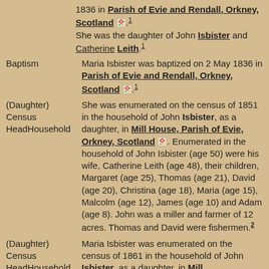1836 in Parish of Evie and Rendall, Orkney, Scotland. 1 She was the daughter of John Isbister and Catherine Leith. 1
Baptism — Maria Isbister was baptized on 2 May 1836 in Parish of Evie and Rendall, Orkney, Scotland. 1
(Daughter) Census HeadHousehold — She was enumerated on the census of 1851 in the household of John Isbister, as a daughter, in Mill House, Parish of Evie, Orkney, Scotland. Enumerated in the household of John Isbister (age 50) were his wife, Catherine Leith (age 48), their children, Margaret (age 25), Thomas (age 21), David (age 20), Christina (age 18), Maria (age 15), Malcolm (age 12), James (age 10) and Adam (age 8). John was a miller and farmer of 12 acres. Thomas and David were fishermen. 2
(Daughter) Census HeadHousehold — Maria Isbister was enumerated on the census of 1861 in the household of John Isbister, as a daughter, in Mill